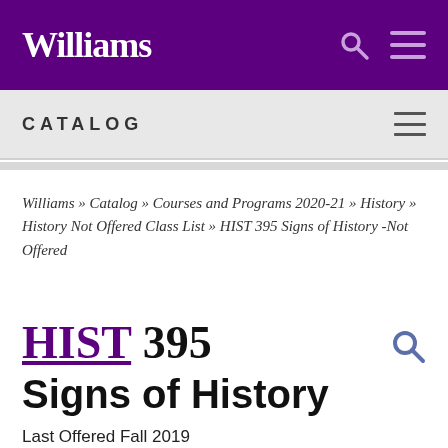Williams
CATALOG
Williams » Catalog » Courses and Programs 2020-21 » History » History Not Offered Class List » HIST 395 Signs of History -Not Offered
HIST 395 Signs of History
Last Offered Fall 2019